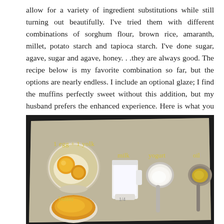allow for a variety of ingredient substitutions while still turning out beautifully. I've tried them with different combinations of sorghum flour, brown rice, amaranth, millet, potato starch and tapioca starch. I've done sugar, agave, sugar and agave, honey. . .they are always good. The recipe below is my favorite combination so far, but the options are nearly endless. I include an optional glaze; I find the muffins perfectly sweet without this addition, but my husband prefers the enhanced experience. Here is what you will need.
[Figure (photo): Overhead photo of baking ingredients on parchment paper against a dark surface: a bowl with 1 egg + 1 yolk (labeled), a measuring cup with milk (labeled), a spoon with yogurt (labeled), a spoon with oil (labeled), and a bowl with butter (labeled) at the bottom.]